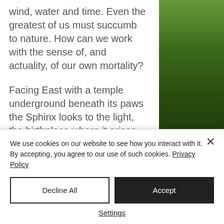wind, water and time. Even the greatest of us must succumb to nature. How can we work with the sense of, and actuality, of our own mortality?
Facing East with a temple underground beneath its paws the Sphinx looks to the light, the birthplace where it arises each morning, yet its temple is a descent into the ground and darkness. Just as it celebrates the equinoxes it
[Figure (photo): Photograph of tree branches and foliage against a sky, showing green and blue tones with branches visible]
We use cookies on our website to see how you interact with it. By accepting, you agree to our use of such cookies. Privacy Policy